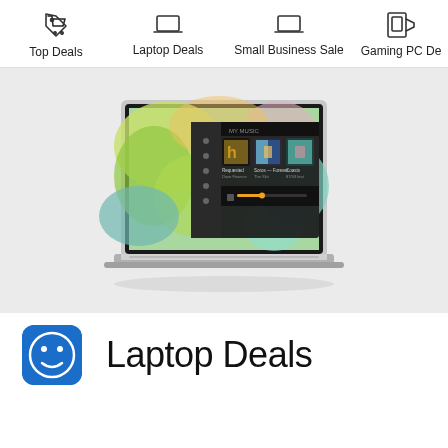Top Deals | Laptop Deals | Small Business Sale | Gaming PC De
[Figure (screenshot): Dell laptop open showing a music app on screen, displayed on a light gray background]
[Figure (logo): Blue square icon with a cookie/smiley face logo]
Laptop Deals